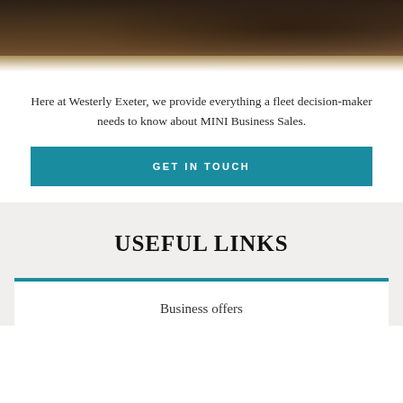[Figure (photo): Dark brown textured background image, appearing as a header banner with wood or stone texture, fading to white at the bottom.]
Here at Westerly Exeter, we provide everything a fleet decision-maker needs to know about MINI Business Sales.
GET IN TOUCH
USEFUL LINKS
Business offers